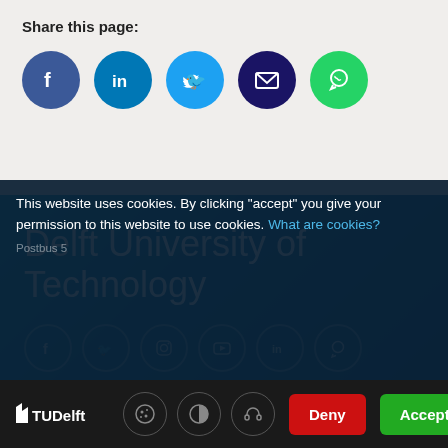Share this page:
[Figure (illustration): Row of social media share icons: Facebook (dark blue circle), LinkedIn (blue circle), Twitter (light blue circle), Email (dark navy circle), WhatsApp (green circle)]
Delft University of Technology
[Figure (illustration): Row of social media footer icons in outline circles: Facebook, Twitter, Instagram, YouTube, LinkedIn, WhatsApp]
This website uses cookies. By clicking "accept" you give your permission to this website to use cookies. What are cookies?
Postbus 5
[Figure (logo): TU Delft logo in white]
[Figure (illustration): Cookie settings icons: cookie icon, contrast icon, headphones icon in dark circle borders]
Deny
Accept